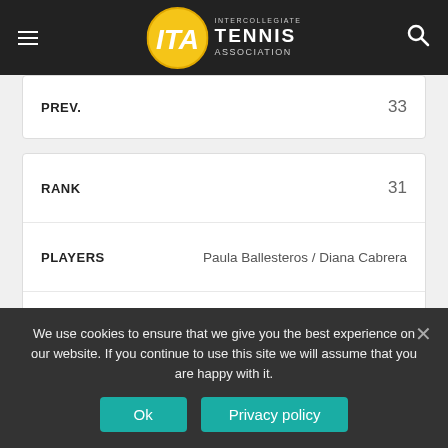ITA – Intercollegiate Tennis Association
| FIELD | VALUE |
| --- | --- |
| PREV. | 33 |
| FIELD | VALUE |
| --- | --- |
| RANK | 31 |
| PLAYERS | Paula Ballesteros / Diana Cabrera |
| SCHOOL | Southwest Baptist University |
| DIVISION II RECORD | 17-10 |
| PREV. | 25 |
| FIELD | VALUE |
| --- | --- |
| RANK | 32 |
We use cookies to ensure that we give you the best experience on our website. If you continue to use this site we will assume that you are happy with it.
Ok
Privacy policy